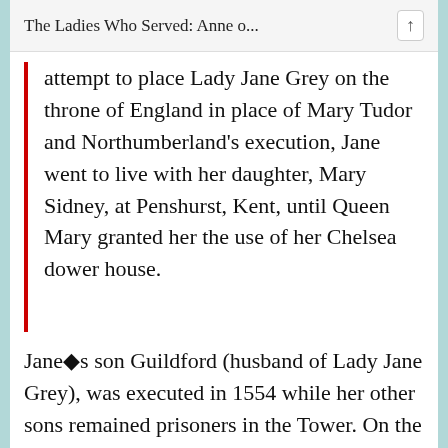The Ladies Who Served: Anne o...
attempt to place Lady Jane Grey on the throne of England in place of Mary Tudor and Northumberland’s execution, Jane went to live with her daughter, Mary Sidney, at Penshurst, Kent, until Queen Mary granted her the use of her Chelsea dower house.
Jane�s son Guildford (husband of Lady Jane Grey), was executed in 1554 while her other sons remained prisoners in the Tower. On the 2nd of May 1554 she herself was pardoned.